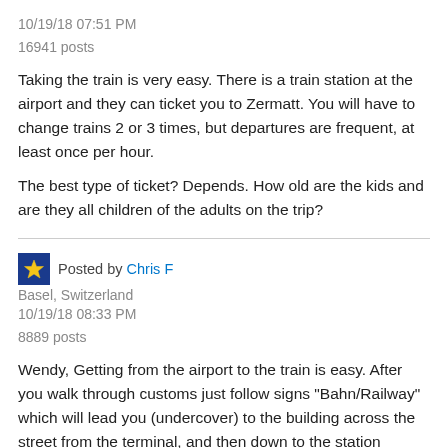10/19/18 07:51 PM
16941 posts
Taking the train is very easy. There is a train station at the airport and they can ticket you to Zermatt. You will have to change trains 2 or 3 times, but departures are frequent, at least once per hour.

The best type of ticket? Depends. How old are the kids and are they all children of the adults on the trip?
Posted by Chris F
Basel, Switzerland
10/19/18 08:33 PM
8889 posts
Wendy, Getting from the airport to the train is easy. After you walk through customs just follow signs "Bahn/Railway" which will lead you (undercover) to the building across the street from the terminal, and then down to the station underneath it.
Trains run multiple times every hour to all destinations in